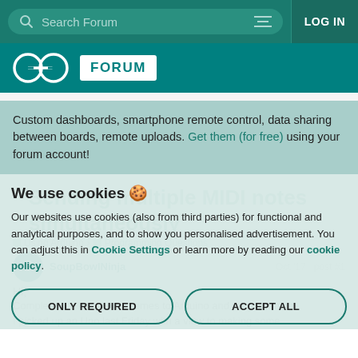Search Forum | LOG IN
[Figure (logo): Arduino Forum logo with infinity symbol and FORUM badge on teal background]
Custom dashboards, smartphone remote control, data sharing between boards, remote uploads. Get them (for free) using your forum account!
Sending multiple MIDI notes simultaneously
Using Arduino > Programming Questions
SoupBowlNinja   Oct '17  post #1
Hi,
Complete novice when it comes to Arduino and programming. I picked up an Uno last Friday with a view to making some
We use cookies 🍪
Our websites use cookies (also from third parties) for functional and analytical purposes, and to show you personalised advertisement. You can adjust this in Cookie Settings or learn more by reading our cookie policy.
ONLY REQUIRED   ACCEPT ALL